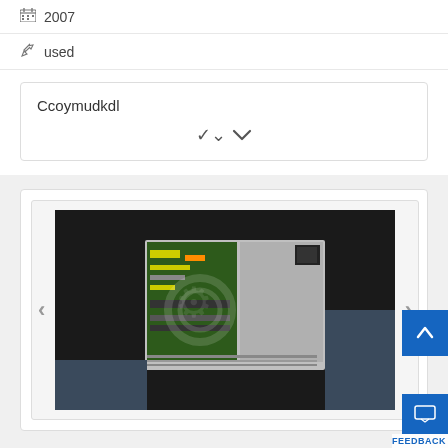2007
used
Ccoymudkdl
[Figure (photo): Industrial electronic component - appears to be a servo drive or power supply unit with circuit boards visible, metallic casing, shown from an angle on a dark background. Navigation arrows on left and right.]